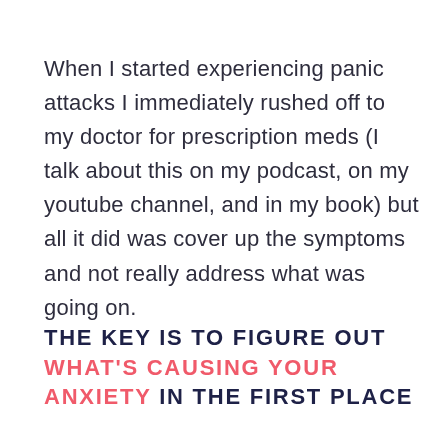When I started experiencing panic attacks I immediately rushed off to my doctor for prescription meds (I talk about this on my podcast, on my youtube channel, and in my book) but all it did was cover up the symptoms and not really address what was going on.
THE KEY IS TO FIGURE OUT WHAT'S CAUSING YOUR ANXIETY IN THE FIRST PLACE